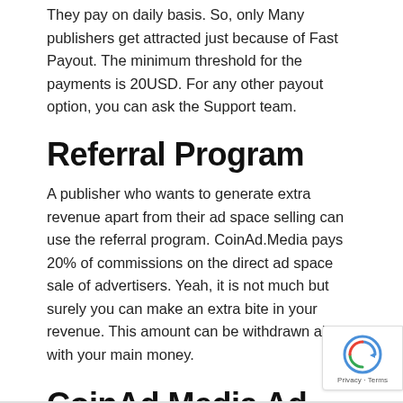They pay on daily basis. So, only Many publishers get attracted just because of Fast Payout. The minimum threshold for the payments is 20USD. For any other payout option, you can ask the Support team.
Referral Program
A publisher who wants to generate extra revenue apart from their ad space selling can use the referral program. CoinAd.Media pays 20% of commissions on the direct ad space sale of advertisers. Yeah, it is not much but surely you can make an extra bite in your revenue. This amount can be withdrawn along with your main money.
CoinAd.Media Ad Network Details